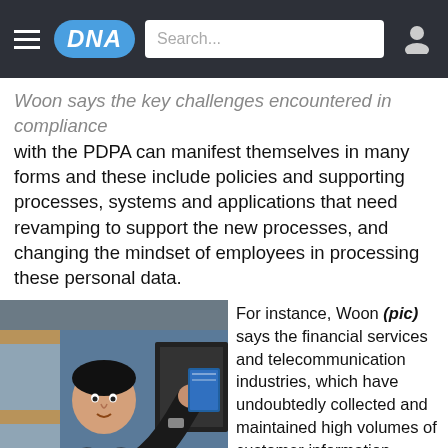DNA — navigation bar with hamburger menu, DNA logo, search bar, user icon
Woon says the key challenges encountered in compliance with the PDPA can manifest themselves in many forms and these include policies and supporting processes, systems and applications that need revamping to support the new processes, and changing the mindset of employees in processing these personal data.
[Figure (photo): Photo of a man in a dark suit and red tie, holding a blue book/booklet, seated in an office or conference room with blue walls and wooden furniture visible in the background.]
For instance, Woon (pic) says the financial services and telecommunication industries, which have undoubtedly collected and maintained high volumes of customer information including personal data over the